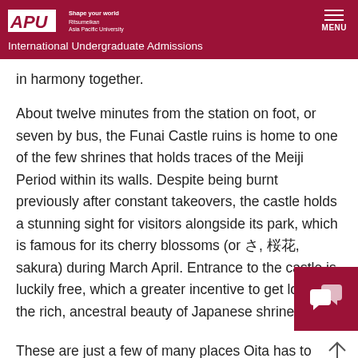APU | Shape your world | Ritsumeikan Asia Pacific University | International Undergraduate Admissions | MENU
in harmony together.
About twelve minutes from the station on foot, or seven by bus, the Funai Castle ruins is home to one of the few shrines that holds traces of the Meiji Period within its walls. Despite being burnt previously after constant takeovers, the castle holds a stunning sight for visitors alongside its park, which is famous for its cherry blossoms (or さ, 桜花, sakura) during March April. Entrance to the castle is luckily free, which a greater incentive to get lost in the rich, ancestral beauty of Japanese shrines!
These are just a few of many places Oita has to